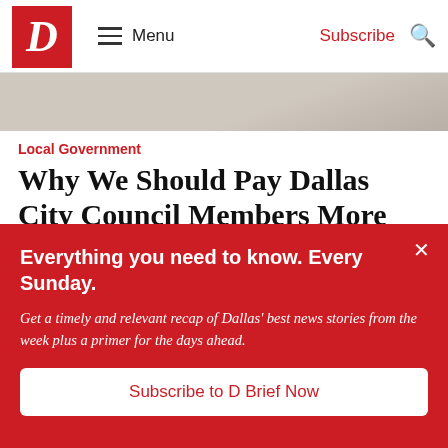D Magazine — Menu | Subscribe
[Figure (photo): Top banner image, muted beige/tan tones showing an exterior scene]
Local Government
Why We Should Pay Dallas City Council Members More
By Peter Simek
[Figure (photo): Warm amber/golden interior architectural photo]
Everything you need to know. Every Sunday. Get a timely and relevant recap of Dallas' best news stories from the week plus a primer for the days ahead.
Subscribe to D Brief Now